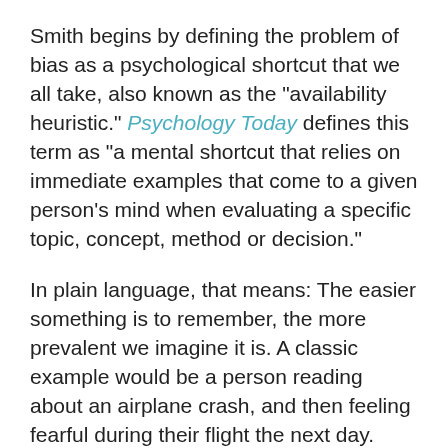Smith begins by defining the problem of bias as a psychological shortcut that we all take, also known as the "availability heuristic." Psychology Today defines this term as "a mental shortcut that relies on immediate examples that come to a given person's mind when evaluating a specific topic, concept, method or decision."
In plain language, that means: The easier something is to remember, the more prevalent we imagine it is. A classic example would be a person reading about an airplane crash, and then feeling fearful during their flight the next day. Airplane crashes are exceptionally rare, yet they are fresh in that person's mind and cause undue worry, even though a crash is unlikely!
Calling this mental phenomenon a “shortcut” is important for a few reasons. For one, it removes shame and blame: Because our lives are so busy and